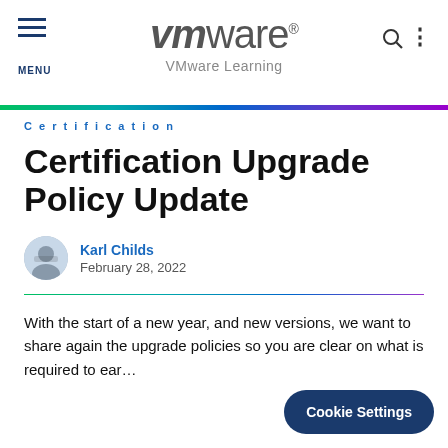VMware / VMware Learning
Certification
Certification Upgrade Policy Update
Karl Childs
February 28, 2022
With the start of a new year, and new versions, we want to share again the upgrade policies so you are clear on what is required to ear…